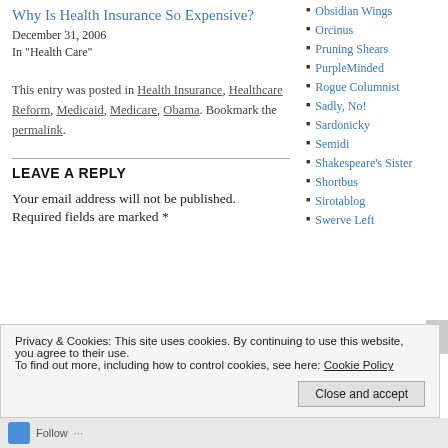Why Is Health Insurance So Expensive?
December 31, 2006
In "Health Care"
This entry was posted in Health Insurance, Healthcare Reform, Medicaid, Medicare, Obama. Bookmark the permalink.
LEAVE A REPLY
Your email address will not be published.
Required fields are marked *
Obsidian Wings
Orcinus
Pruning Shears
PurpleMinded
Rogue Columnist
Sadly, No!
Sardonicky
Semidi
Shakespeare's Sister
Shortbus
Sirotablog
Swerve Left
Privacy & Cookies: This site uses cookies. By continuing to use this website, you agree to their use. To find out more, including how to control cookies, see here: Cookie Policy
Close and accept
Follow